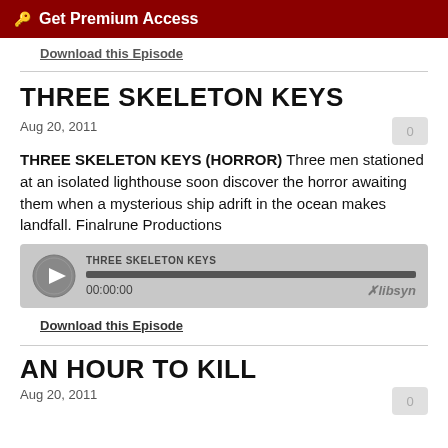Get Premium Access
Download this Episode
THREE SKELETON KEYS
Aug 20, 2011
THREE SKELETON KEYS (HORROR) Three men stationed at an isolated lighthouse soon discover the horror awaiting them when a mysterious ship adrift in the ocean makes landfall. Finalrune Productions
[Figure (other): Audio player widget showing THREE SKELETON KEYS episode, with play button, progress bar at 00:00:00, and libsyn branding]
Download this Episode
AN HOUR TO KILL
Aug 20, 2011